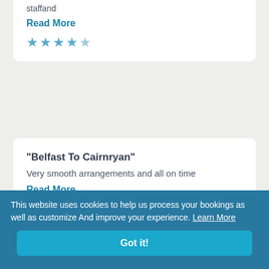staffand
Read More
★★★★☆
"Belfast To Cairnryan"
Very smooth arrangements and all on time
Read More
★★★★☆
"Great Service"
Smooth sailing
This website uses cookies to help us process your bookings as well as customize And improve your experience. Learn More
Got it!